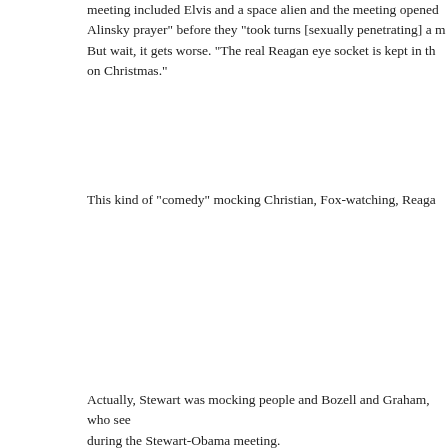meeting included Elvis and a space alien and the meeting opened with an Alinsky prayer" before they "took turns [sexually penetrating] a man... But wait, it gets worse. "The real Reagan eye socket is kept in the... on Christmas."
This kind of "comedy" mocking Christian, Fox-watching, Reaga...
Actually, Stewart was mocking people and Bozell and Graham, who see... during the Stewart-Obama meeting.